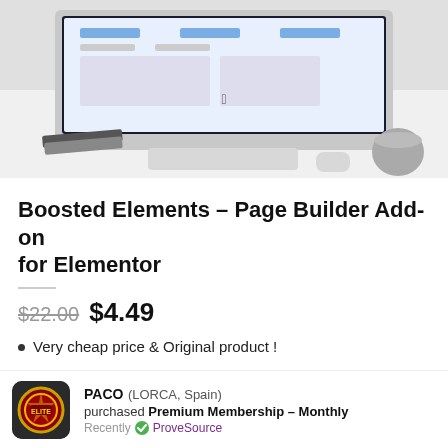[Figure (photo): Photo of an iMac on a white desk with keyboard, mouse, notebooks, and a gray mug. The iMac screen shows a webpage.]
Boosted Elements – Page Builder Add-on for Elementor
$22.00  $4.49
Very cheap price & Original product !
PACO (LORCA, Spain)
purchased Premium Membership – Monthly
Recently ✔ ProveSource